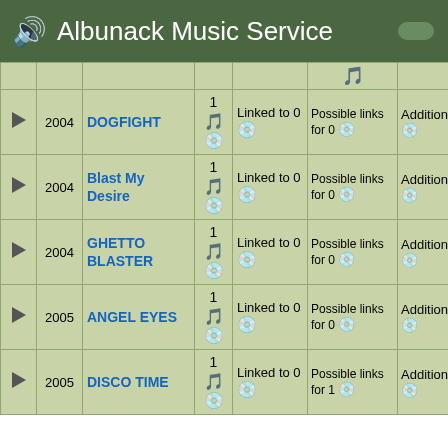Albunack Music Service
|  | Year | Title | # | Linked | Possible links for | Additional |
| --- | --- | --- | --- | --- | --- | --- |
| ▶ | 2004 | DOGFIGHT | 1 | Linked to 0 | Possible links for 0 | Additional 2 |
| ▶ | 2004 | Blast My Desire | 1 | Linked to 0 | Possible links for 0 | Additional 2 |
| ▶ | 2004 | GHETTO BLASTER | 1 | Linked to 0 | Possible links for 0 | Additional 1 |
| ▶ | 2005 | ANGEL EYES | 1 | Linked to 0 | Possible links for 0 | Additional 0 |
| ▶ | 2005 | DISCO TIME | 1 | Linked to 0 | Possible links for 1 | Additional 1 |